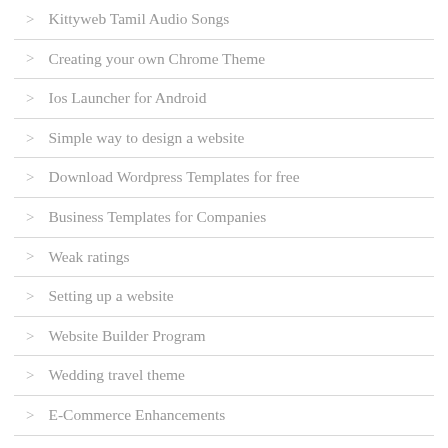Kittyweb Tamil Audio Songs
Creating your own Chrome Theme
Ios Launcher for Android
Simple way to design a website
Download Wordpress Templates for free
Business Templates for Companies
Weak ratings
Setting up a website
Website Builder Program
Wedding travel theme
E-Commerce Enhancements
Company e-mail template
Wordpress Funky Topics
Imaginative E-Commerce Website Templates
Worldpress Parents Theme